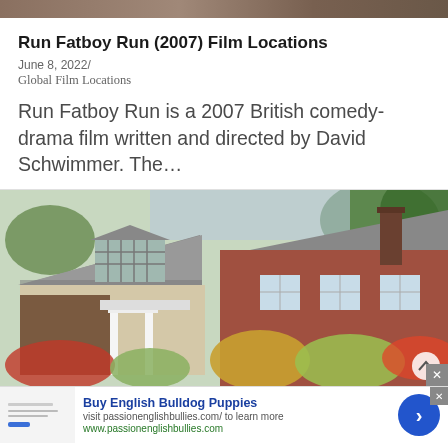[Figure (photo): Narrow top banner/image bar at the very top of the screenshot]
Run Fatboy Run (2007) Film Locations
June 8, 2022/
Global Film Locations
Run Fatboy Run is a 2007 British comedy-drama film written and directed by David Schwimmer. The…
[Figure (photo): Photograph of a suburban house with gray shingled roof, dormer window, white siding, brick chimney, and people standing outside. Trees visible in background.]
Buy English Bulldog Puppies
visit passionenglishbullies.com/ to learn more
www.passionenglishbullies.com